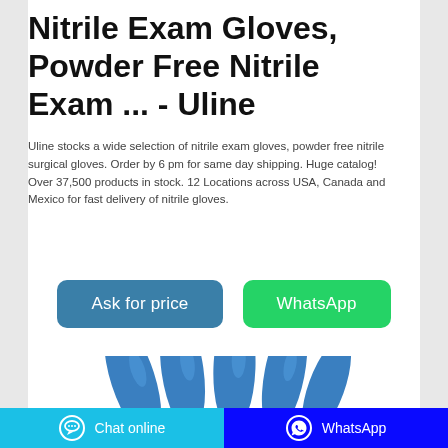Nitrile Exam Gloves, Powder Free Nitrile Exam ... - Uline
Uline stocks a wide selection of nitrile exam gloves, powder free nitrile surgical gloves. Order by 6 pm for same day shipping. Huge catalog! Over 37,500 products in stock. 12 Locations across USA, Canada and Mexico for fast delivery of nitrile gloves.
[Figure (illustration): Two blue nitrile gloved hands/fingers partially visible at bottom of page]
Chat online | WhatsApp